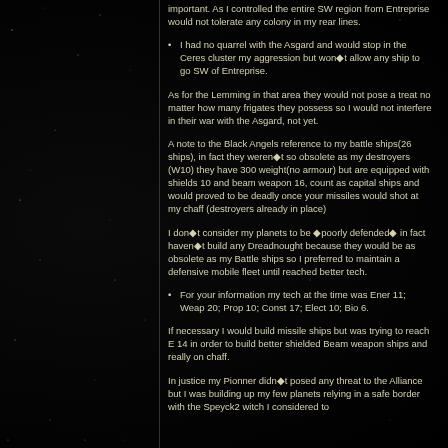important. As I controlled the entire SW region from Entreprise would not tolerate any colony in my rear lines.
I had no quarrel with the Asgard and would stop in the Ceres cluster my aggression but won◆t allow any ship to go SW of Entreprise.
As for the Lemming in that area they would not pose a treat no matter how many frigates they possess so I would not interfere in their war with the Asgard, not yet.
A note to the Black Angels reference to my battle ships(26 ships), in fact they weren◆t so obsolete as my destroyers (W10) they have 300 weight(no armour) but are equipped with shields 10 and beam weapon 16, count as capital ships and would proved to be deadly once your missiles would shot at my chaff (destroyers already in place)
I don◆t consider my planets to be ◆poorly defended◆ in fact haven◆t build any Dreadnought because they would be as obsolete as my Battle ships so I preferred to maintain a defensive mobile fleet until reached better tech.
For your information my tech at the time was Ener 11; Weap 20; Prop 10; Const 17; Elect 10; Bio 6.
If necessary I would build missile ships but was trying to reach E 14 in order to build better shielded Beam weapon ships and really on chaff.
In justice my Pionner didn◆t posed any threat to the Alliance but I was building up my few planets relying in a safe border with the Speyck2 witch I considered to